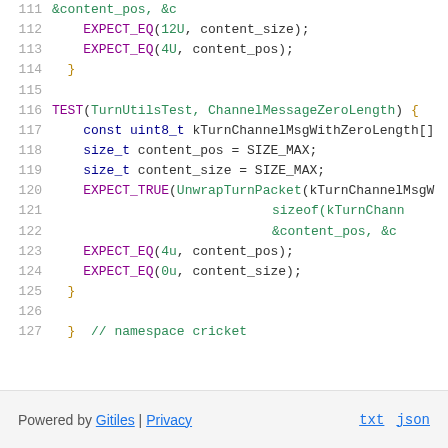Code listing lines 111-127: C++ test code for TurnUtils, showing EXPECT_EQ, EXPECT_TRUE calls and a TEST block for ChannelMessageZeroLength, ending with namespace cricket closing brace.
Powered by Gitiles | Privacy    txt  json